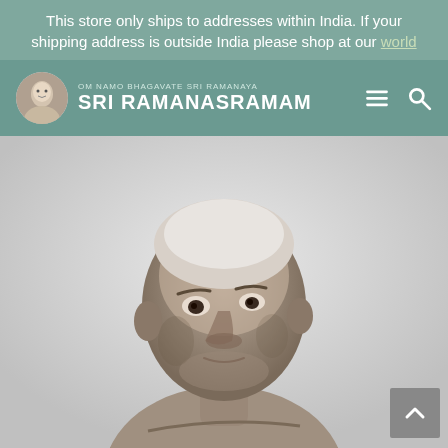This store only ships to addresses within India. If your shipping address is outside India please shop at our world
OM NAMO BHAGAVATE SRI RAMANAYA — SRI RAMANASRAMAM
[Figure (photo): Black and white portrait photograph of an elderly man, shirtless, with a serene expression, likely Sri Ramana Maharshi.]